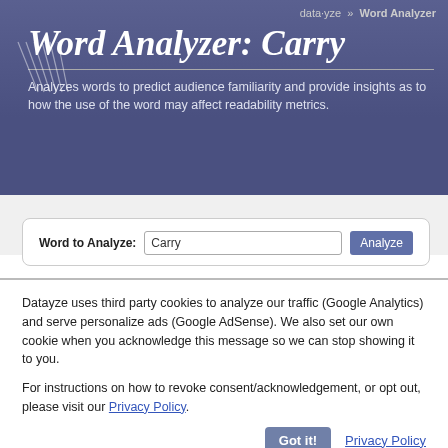data·yze » Word Analyzer
Word Analyzer: Carry
Analyzes words to predict audience familiarity and provide insights as to how the use of the word may affect readability metrics.
Word to Analyze: Carry  [Analyze]
Datayze uses third party cookies to analyze our traffic (Google Analytics) and serve personalize ads (Google AdSense). We also set our own cookie when you acknowledge this message so we can stop showing it to you.
For instructions on how to revoke consent/acknowledgement, or opt out, please visit our Privacy Policy.
Got it!  Privacy Policy